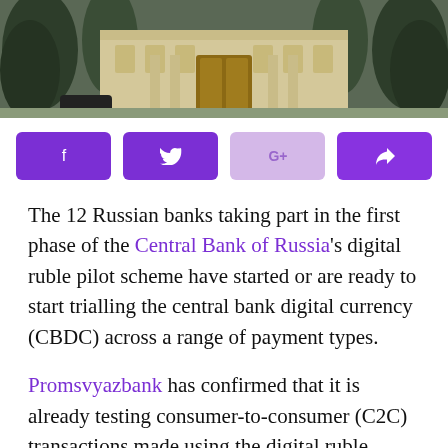[Figure (photo): Photograph of a government/bank building exterior with columns and large entrance doors, surrounded by tall conifer trees. The building appears to be the Central Bank of Russia.]
[Figure (infographic): Social media sharing buttons bar: Facebook (dark purple), Twitter (dark purple), Google+ (light purple/lavender), and Share/forward (dark purple)]
The 12 Russian banks taking part in the first phase of the Central Bank of Russia's digital ruble pilot scheme have started or are ready to start trialling the central bank digital currency (CBDC) across a range of payment types.
Promsvyazbank has confirmed that it is already testing consumer-to-consumer (C2C) transactions made using the digital ruble, Tinkoff Bank is preparing to start similar tests in the near future and VTB says that it has the necessary